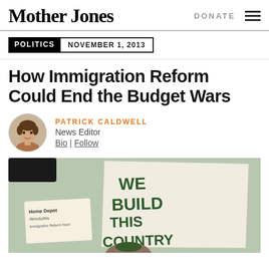Mother Jones
DONATE
POLITICS  NOVEMBER 1, 2013
How Immigration Reform Could End the Budget Wars
PATRICK CALDWELL
News Editor
Bio | Follow
[Figure (photo): A protester holding a large sign reading 'WE BUILD THIS COUNTRY' at an immigration reform rally, with another sign reading 'Home Depot #letsdothis' visible to the left. Trees and a building are visible in the background.]